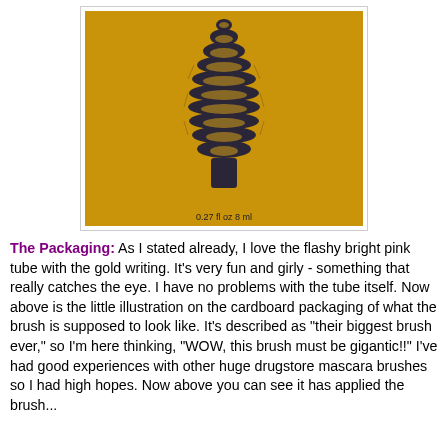[Figure (photo): Photo of mascara brush illustration on yellow/gold cardboard packaging, showing a large spiky mascara wand brush shape in dark navy/black. Bottom of image shows partial text '0.27 fl oz 8 ml'.]
The Packaging: As I stated already, I love the flashy bright pink tube with the gold writing. It's very fun and girly - something that really catches the eye. I have no problems with the tube itself. Now above is the little illustration on the cardboard packaging of what the brush is supposed to look like. It's described as "their biggest brush ever," so I'm here thinking, "WOW, this brush must be gigantic!!" I've had good experiences with other huge drugstore mascara brushes so I had high hopes. Now above you can see it has applied the brush...